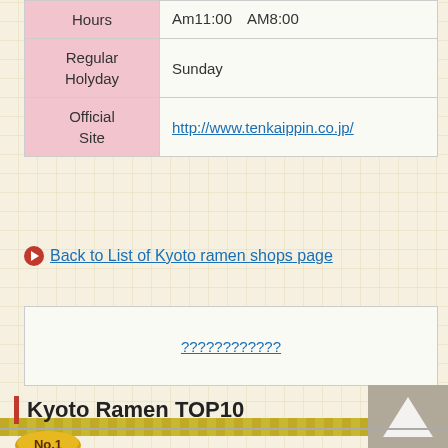|  |  |
| --- | --- |
| Hours | Am11:00  AM8:00 |
| Regular Holyday | Sunday |
| Official Site | http://www.tenkaippin.co.jp/ |
Back to List of Kyoto ramen shops page
（Japanese characters link）
Kyoto Ramen TOP10